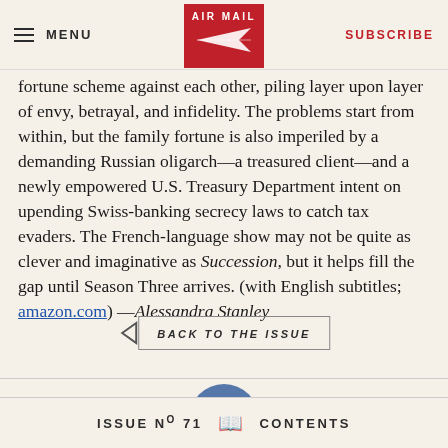MENU | AIR MAIL | SUBSCRIBE
fortune scheme against each other, piling layer upon layer of envy, betrayal, and infidelity. The problems start from within, but the family fortune is also imperiled by a demanding Russian oligarch—a treasured client—and a newly empowered U.S. Treasury Department intent on upending Swiss-banking secrecy laws to catch tax evaders. The French-language show may not be quite as clever and imaginative as Succession, but it helps fill the gap until Season Three arrives. (with English subtitles; amazon.com) —Alessandra Stanley
[Figure (other): Back to the issue navigation button with left-pointing arrow and text BACK TO THE ISSUE in a bordered box]
ISSUE No 71   CONTENTS